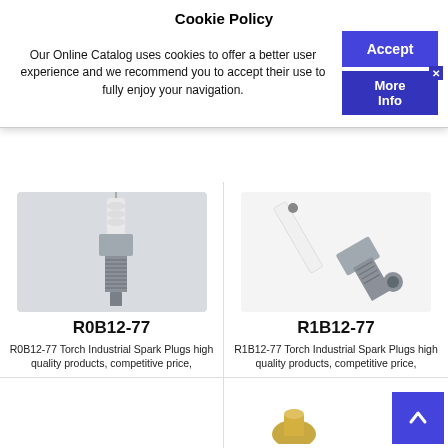Cookie Policy
Our Online Catalog uses cookies to offer a better user experience and we recommend you to accept their use to fully enjoy your navigation.
[Figure (photo): Spark plug R0B12-77, a standard type spark plug with hexagonal metal base, threaded shank, white ceramic insulator, and electrode tip, photographed on light grey background]
R0B12-77
R0B12-77 Torch Industrial Spark Plugs high quality products, competitive price,
[Figure (photo): Spark plug R1B12-77, an industrial spark plug with long white ceramic/porcelain insulator body, hexagonal metal nut, threaded shank, photographed on white background]
R1B12-77
R1B12-77 Torch Industrial Spark Plugs high quality products, competitive price,
[Figure (photo): Partial view of a small brass/gold colored part, possibly a fitting or nozzle, at bottom center of page]